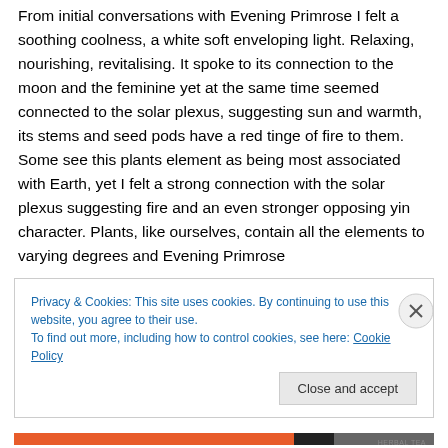From initial conversations with Evening Primrose I felt a soothing coolness, a white soft enveloping light. Relaxing, nourishing, revitalising. It spoke to its connection to the moon and the feminine yet at the same time seemed connected to the solar plexus, suggesting sun and warmth, its stems and seed pods have a red tinge of fire to them. Some see this plants element as being most associated with Earth, yet I felt a strong connection with the solar plexus suggesting fire and an even stronger opposing yin character. Plants, like ourselves, contain all the elements to varying degrees and Evening Primrose
Privacy & Cookies: This site uses cookies. By continuing to use this website, you agree to their use.
To find out more, including how to control cookies, see here: Cookie Policy